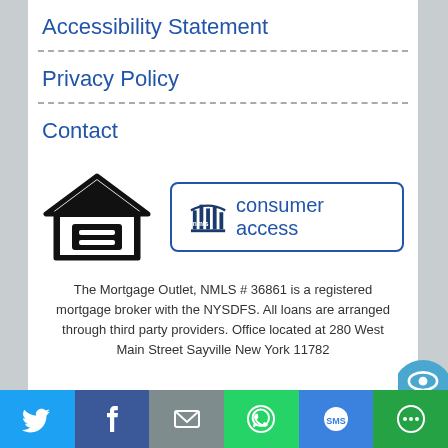Accessibility Statement
Privacy Policy
Contact
[Figure (logo): Equal Housing Lender logo (house with equal sign) and NMLS Consumer Access logo in a bordered box]
The Mortgage Outlet, NMLS # 36861 is a registered mortgage broker with the NYSDFS. All loans are arranged through third party providers. Office located at 280 West Main Street Sayville New York 11782
Social share bar: Twitter, Facebook, Email, WhatsApp, SMS, More